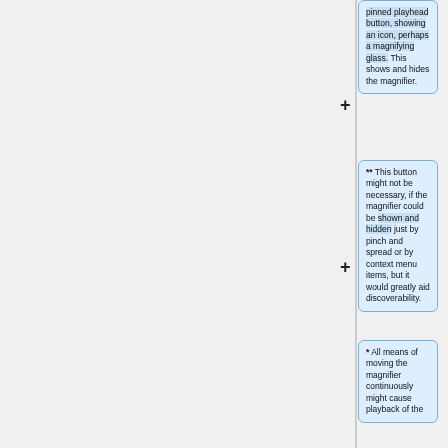pinned playhead button, showing an icon, perhaps a magnifying glass. This shows and hides the magnifier.
** This button might not be necessary, if the magnifier could be shown and hidden just by pinch and spread or by context menu items, but it would greatly aid discoverability.
* All means of moving the magnifier continuously might cause playback of the